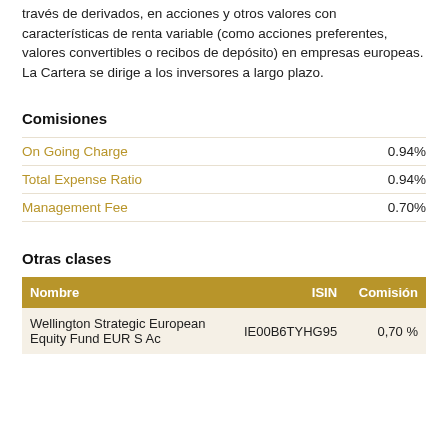través de derivados, en acciones y otros valores con características de renta variable (como acciones preferentes, valores convertibles o recibos de depósito) en empresas europeas. La Cartera se dirige a los inversores a largo plazo.
Comisiones
On Going Charge    0.94%
Total Expense Ratio    0.94%
Management Fee    0.70%
Otras clases
| Nombre | ISIN | Comisión |
| --- | --- | --- |
| Wellington Strategic European Equity Fund EUR S Ac | IE00B6TYHG95 | 0,70 % |